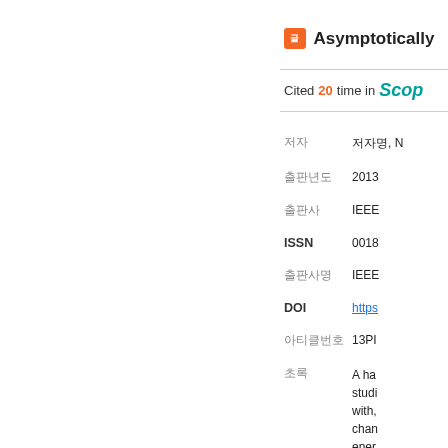Asymptotically
Cited 20 time in Scopus
| Field | Value |
| --- | --- |
| 저자 | 저자명, N... |
| 출판년도 | 2013 |
| 출판사 | IEEE |
| ISSN | 0018... |
| 출판사명 | IEEE |
| DOI | https://... |
| 아티클번호 | 13PI... |
| 초록 | A ha... studi... with, chan... ener... |